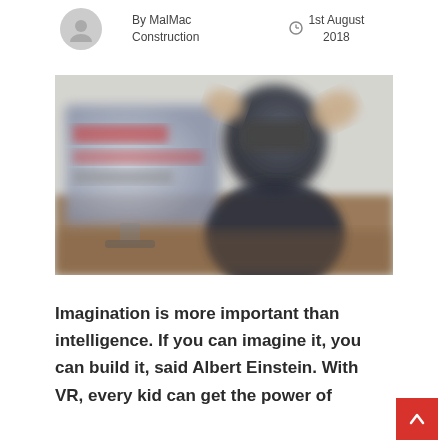By MalMac Construction
1st August 2018
[Figure (photo): Person wearing a VR headset with hands raised, sitting in front of a monitor displaying a blurred interface, in a dimly lit room.]
Imagination is more important than intelligence. If you can imagine it, you can build it, said Albert Einstein. With VR, every kid can get the power of